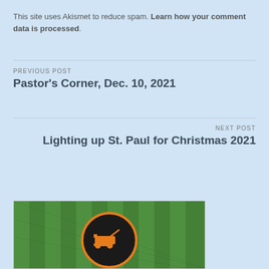This site uses Akismet to reduce spam. Learn how your comment data is processed.
PREVIOUS POST
Pastor's Corner, Dec. 10, 2021
NEXT POST
Lighting up St. Paul for Christmas 2021
[Figure (photo): Partial view of a lawn care logo — a green striped lawn with an orange lawn mower icon inside a dark circular badge]